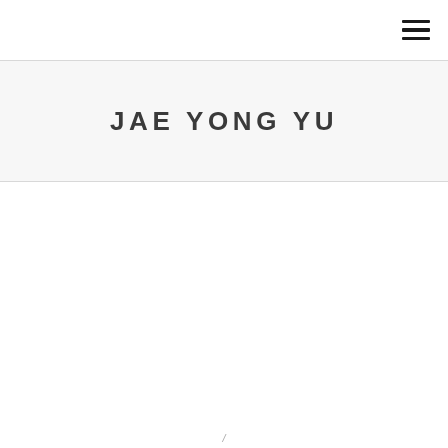[Figure (other): Hamburger menu icon with three horizontal lines in top-right corner]
JAE YONG YU
/